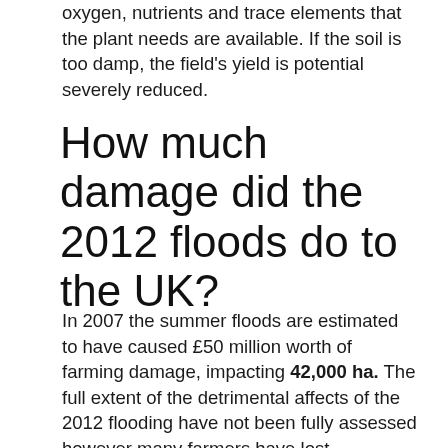oxygen, nutrients and trace elements that the plant needs are available. If the soil is too damp, the field's yield is potential severely reduced.
How much damage did the 2012 floods do to the UK?
In 2007 the summer floods are estimated to have caused £50 million worth of farming damage, impacting 42,000 ha. The full extent of the detrimental affects of the 2012 flooding have not been fully assessed however many farmers have lost thousands, if not tens of thousands, of pounds worth of